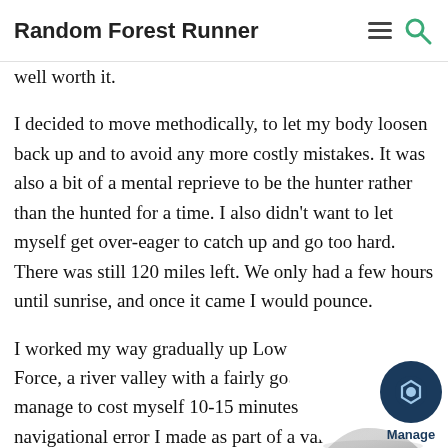Random Forest Runner
well worth it.
I decided to move methodically, to let my body loosen back up and to avoid any more costly mistakes. It was also a bit of a mental reprieve to be the hunter rather than the hunted for a time. I also didn't want to let myself get over-eager to catch up and go too hard. There was still 120 miles left. We only had a few hours until sunrise, and once it came I would pounce.
I worked my way gradually up Low Force and High Force, a river valley with a fairly good path. I did manage to cost myself 10-15 minutes with a navigational error I made as part of a vain attempt to enjoy my fresh, socks and shoes for a bit longer before t